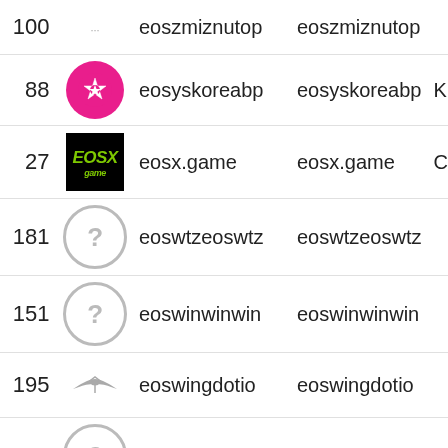| Rank | Logo | Account | Name | Extra |
| --- | --- | --- | --- | --- |
| 100 |  | eoszmiznutop | eoszmiznutop |  |
| 88 |  | eosyskoreabp | eosyskoreabp | K |
| 27 |  | eosx.game | eosx.game | C |
| 181 |  | eoswtzeoswtz | eoswtzeoswtz |  |
| 151 |  | eoswinwinwin | eoswinwinwin |  |
| 195 |  | eoswingdotio | eoswingdotio |  |
| 174 |  | eoswenzhoubp | eoswenzhoubp |  |
| 129 |  | eoswancloud1 | eoswancloud1 |  |
| 117 |  | eosvolgabpru | eosvolgabpru | R |